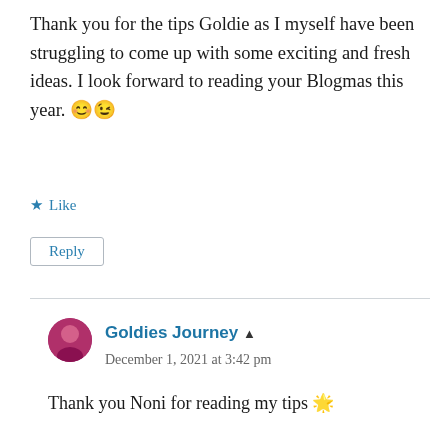Thank you for the tips Goldie as I myself have been struggling to come up with some exciting and fresh ideas. I look forward to reading your Blogmas this year. 😊😉
★ Like
Reply
Goldies Journey  ▲
December 1, 2021 at 3:42 pm
Thank you Noni for reading my tips 🌟